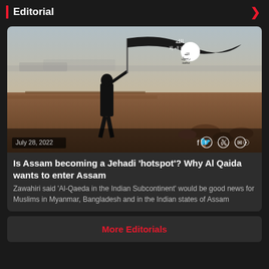Editorial
[Figure (photo): A militant figure in black robes holds up a large black ISIS/jihadist flag against an open arid landscape with a city visible in the distant background.]
July 28, 2022
Is Assam becoming a Jehadi 'hotspot'? Why Al Qaida wants to enter Assam
Zawahiri said 'Al-Qaeda in the Indian Subcontinent' would be good news for Muslims in Myanmar, Bangladesh and in the Indian states of Assam
More Editorials